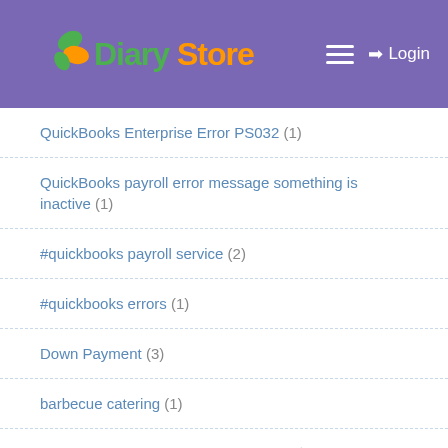Diary Store — Login
QuickBooks Enterprise Error PS032 (1)
QuickBooks payroll error message something is inactive (1)
#quickbooks payroll service (2)
#quickbooks errors (1)
Down Payment (3)
barbecue catering (1)
Quickbooks Advanced Payroll Support☎ +1 (213)294-7218 (1)
air conditioner repair dubai (1)
LED strip lights (1)
QuickBooks Error 6000 77 (2)
QuickBooks Error 15242 Windows 10 (1)